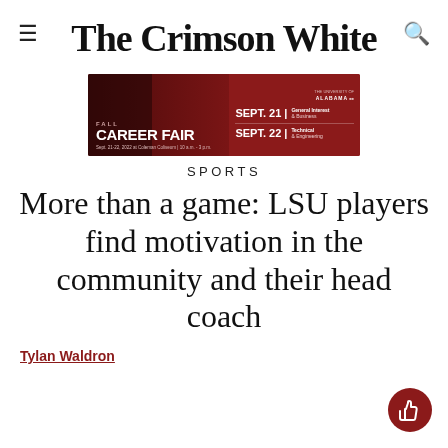The Crimson White
[Figure (infographic): University of Alabama Fall Career Fair advertisement banner. Dark red/crimson background. Text: FALL CAREER FAIR, Sept. 21-22, 2022 at Coleman Coliseum | 10 a.m. - 3 p.m. SEPT. 21 General Interest & Business. SEPT. 22 Technical & Engineering.]
SPORTS
More than a game: LSU players find motivation in the community and their head coach
Tylan Waldron